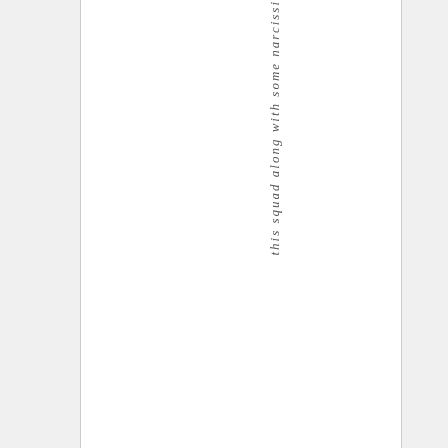this squad along with some narcissi